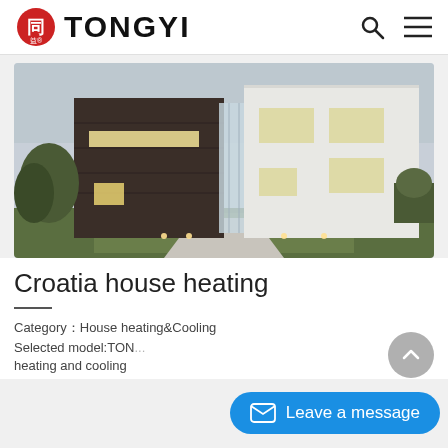TONGYI
[Figure (photo): Exterior view of a modern two-tone house at dusk — dark brown cladding on left wing, white stucco on right wing, illuminated windows, green lawn in foreground]
Croatia house heating
Category：House heating&Cooling
Selected model:TON...
heating and cooling